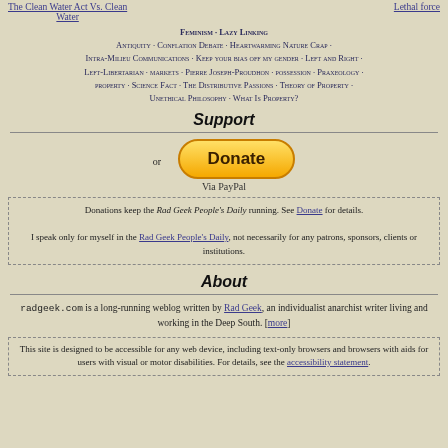The Clean Water Act Vs. Clean Water | Lethal force
Feminism · Lazy Linking · Antiquity · Conflation Debate · Heartwarming Nature Crap · Intra-Milieu Communications · Keep your bias off my gender · Left and Right · Left-Libertarian · markets · Pierre Joseph-Proudhon · possession · Praxeology · property · Science Fact · The Distributive Passions · Theory of Property · Unethical Philosophy · What Is Property?
Support
[Figure (other): Donate button (yellow rounded rectangle) with 'or' text and 'Via PayPal' label]
Donations keep the Rad Geek People's Daily running. See Donate for details.

I speak only for myself in the Rad Geek People's Daily, not necessarily for any patrons, sponsors, clients or institutions.
About
radgeek.com is a long-running weblog written by Rad Geek, an individualist anarchist writer living and working in the Deep South. [more]
This site is designed to be accessible for any web device, including text-only browsers and browsers with aids for users with visual or motor disabilities. For details, see the accessibility statement.